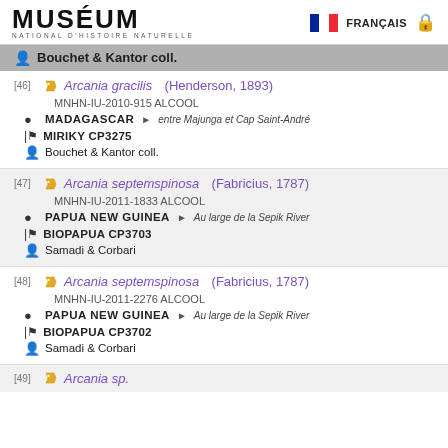MUSÉUM NATIONAL D'HISTOIRE NATURELLE | FRANÇAIS
Bouchet & Kantor coll.
[46] Arcania gracilis (Henderson, 1893) MNHN-IU-2010-915 ALCOOL | MADAGASCAR → entre Majunga et Cap Saint-André | MIRIKY CP3275 | Bouchet & Kantor coll.
[47] Arcania septemspinosa (Fabricius, 1787) MNHN-IU-2011-1833 ALCOOL | PAPUA NEW GUINEA → Au large de la Sepik River | BIOPAPUA CP3703 | Samadi & Corbari
[48] Arcania septemspinosa (Fabricius, 1787) MNHN-IU-2011-2276 ALCOOL | PAPUA NEW GUINEA → Au large de la Sepik River | BIOPAPUA CP3702 | Samadi & Corbari
[49] Arcania sp.